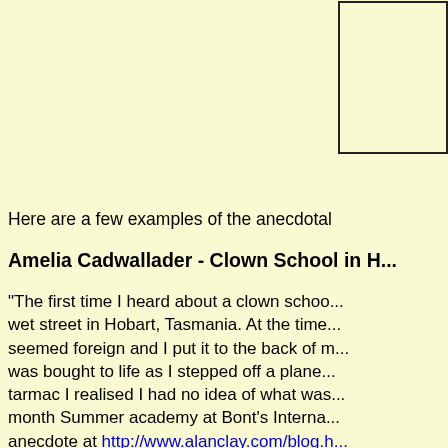[Figure (other): Rectangular image placeholder box, outlined with black border, empty white/cream interior]
Auckland Ce... May, 1.30pm
Some of the i... posted on Ala...
Here are a few examples of the anecdotal
Amelia Cadwallader - Clown School in H...
"The first time I heard about a clown schoo... wet street in Hobart, Tasmania. At the time... seemed foreign and I put it to the back of m... was bought to life as I stepped off a plane... tarmac I realised I had no idea of what was... month Summer academy at Bont's Interna... anecdote at http://www.alanclay.com/blog.h...
Kirk Marsh - Realization of my Clowing...
"So I get a job at a Las Vegas casino as a... At this point I could juggle, but couldn't do... in the world is performing. For the first mor... A slight applause now and then, but nothin... Read the rest of this anecdote at: http://www...